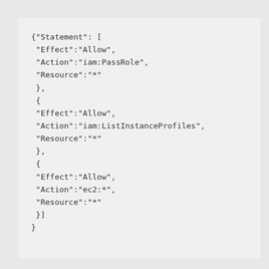{"Statement": [
 "Effect":"Allow",
 "Action":"iam:PassRole",
 "Resource":"*"
 },
 {
 "Effect":"Allow",
 "Action":"iam:ListInstanceProfiles",
 "Resource":"*"
 },
 {
 "Effect":"Allow",
 "Action":"ec2:*",
 "Resource":"*"
 }]
}